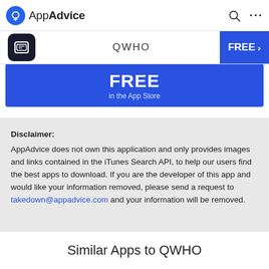AppAdvice
QWHO   FREE ›
[Figure (screenshot): Blue banner with FREE text and 'in the App Store' subtitle]
Disclaimer:
AppAdvice does not own this application and only provides images and links contained in the iTunes Search API, to help our users find the best apps to download. If you are the developer of this app and would like your information removed, please send a request to takedown@appadvice.com and your information will be removed.
Similar Apps to QWHO